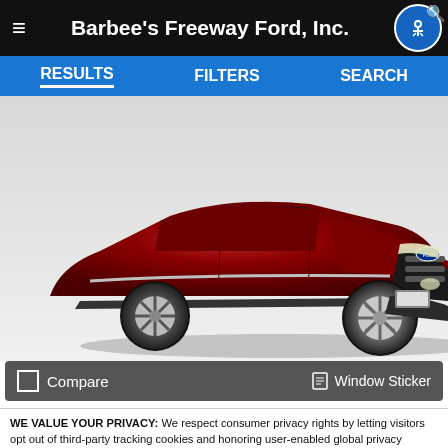Barbee's Freeway Ford, Inc.
[Figure (screenshot): Navigation bar with RESULTS, FILTERS, SEARCH tabs on blue background]
[Figure (photo): Front view of a dark red/ruby Ford Explorer SUV on a light grey background]
Compare    Window Sticker
Ext: Ruby Red Metallic Tinted Clearcoat
WE VALUE YOUR PRIVACY: We respect consumer privacy rights by letting visitors opt out of third-party tracking cookies and honoring user-enabled global privacy controls, like the GPC signal. This site deploys cookies and similar tracking technologies to build profiles, serve ads, and personalize your experience across websites. By pressing accept, you consent to the use of such cookies. To manage your privacy rights or view the categories of personal information we collect and the purposes for which the information is used, click here.
Language:  English  ∨   Powered by ComplyAuto
Accept and Continue →   Privacy Policy   ×